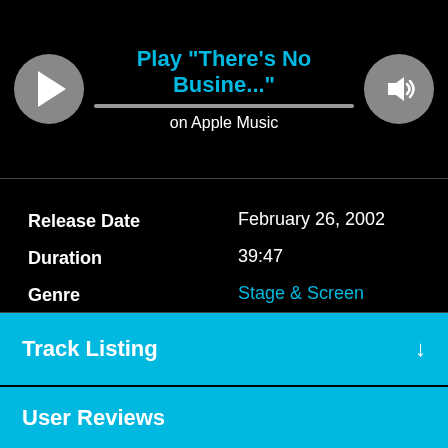[Figure (screenshot): Apple Music player bar with play button, progress bar, speaker icon, showing 'Play There's No Busine...' on Apple Music]
| Release Date | February 26, 2002 |
| Duration | 39:47 |
| Genre | Stage & Screen
Classical |
| Styles | Show/Musical
Vocal Music |
Track Listing
User Reviews